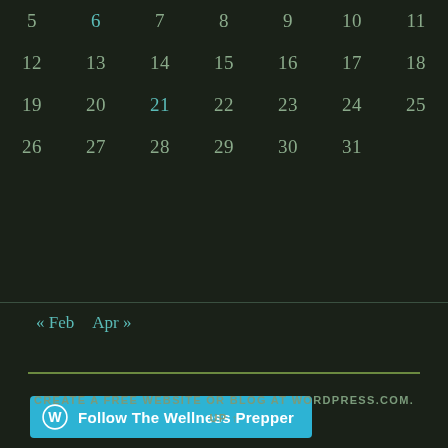| 5 | 6 | 7 | 8 | 9 | 10 | 11 |
| 12 | 13 | 14 | 15 | 16 | 17 | 18 |
| 19 | 20 | 21 | 22 | 23 | 24 | 25 |
| 26 | 27 | 28 | 29 | 30 | 31 |  |
« Feb  Apr »
[Figure (other): Horizontal olive/green divider line]
[Figure (other): Follow The Wellness Prepper WordPress follow button]
CREATE A FREE WEBSITE OR BLOG AT WORDPRESS.COM.
UP ↑